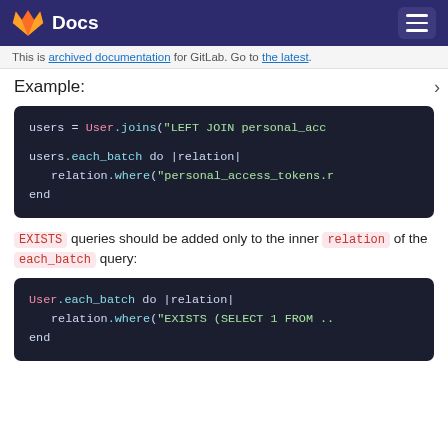Docs
This is archived documentation for GitLab. Go to the latest.
Example:
[Figure (screenshot): Code block showing: users = User.joins("LEFT JOIN personal_acc  users.each_batch do |relation|    relation.where("personal_access_tokens.r  end]
EXISTS queries should be added only to the inner relation of the each_batch query:
[Figure (screenshot): Code block showing: User.each_batch do |relation|    relation.where("EXISTS (SELECT 1 FROM ..  end]